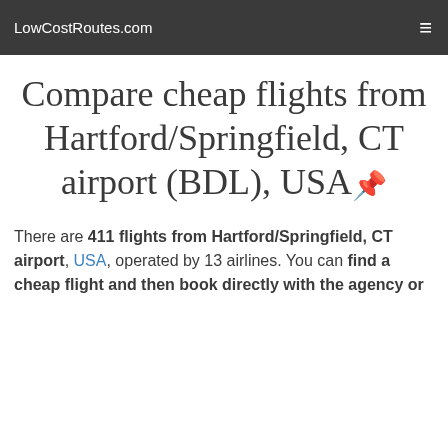LowCostRoutes.com
Compare cheap flights from Hartford/Springfield, CT airport (BDL), USA
There are 411 flights from Hartford/Springfield, CT airport, USA, operated by 13 airlines. You can find a cheap flight and then book directly with the agency or